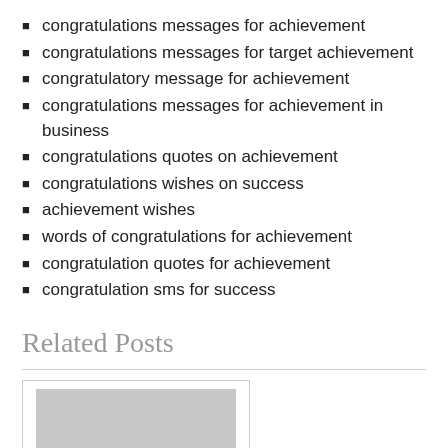congratulations messages for achievement
congratulations messages for target achievement
congratulatory message for achievement
congratulations messages for achievement in business
congratulations quotes on achievement
congratulations wishes on success
achievement wishes
words of congratulations for achievement
congratulation quotes for achievement
congratulation sms for success
Related Posts
[Figure (photo): Placeholder image for a related post thumbnail]